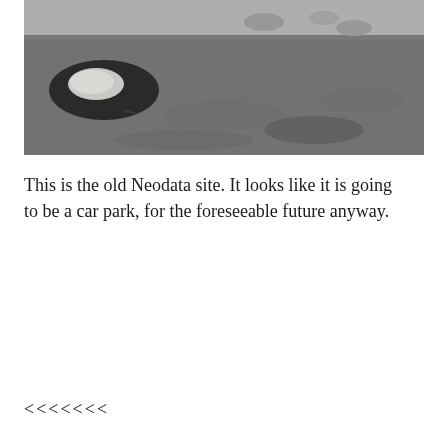[Figure (photo): Photograph of the old Neodata site showing a worn, cracked concrete or asphalt surface with potholes partially filled with water or debris, viewed from ground level.]
This is the old Neodata site. It looks like it is going to be a car park, for the foreseeable future anyway.
<<<<<<<